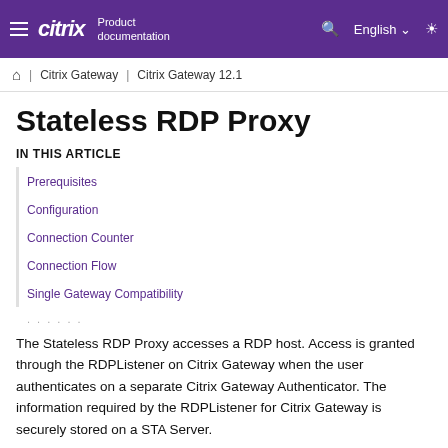citrix Product documentation | English
Citrix Gateway | Citrix Gateway 12.1
Stateless RDP Proxy
IN THIS ARTICLE
Prerequisites
Configuration
Connection Counter
Connection Flow
Single Gateway Compatibility
The Stateless RDP Proxy accesses a RDP host. Access is granted through the RDPListener on Citrix Gateway when the user authenticates on a separate Citrix Gateway Authenticator. The information required by the RDPListener for Citrix Gateway is securely stored on a STA Server.